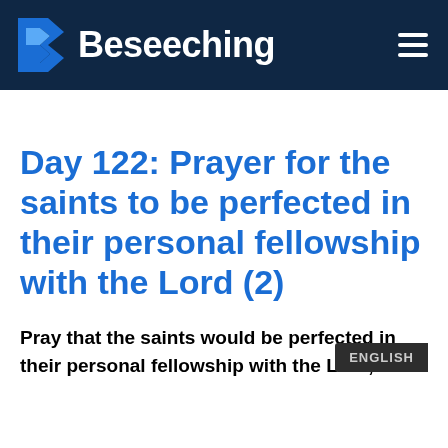Beseeching
Day 122: Prayer for the saints to be perfected in their personal fellowship with the Lord (2)
Pray that the saints would be perfected in their personal fellowship with the Lord,